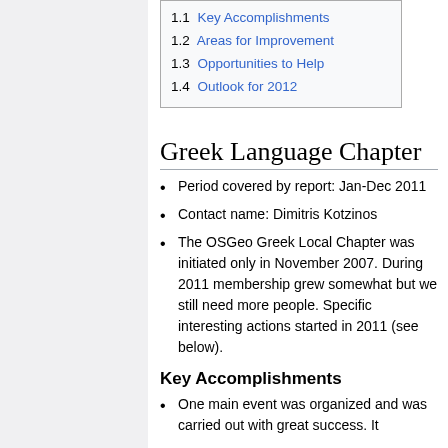1.1 Key Accomplishments
1.2 Areas for Improvement
1.3 Opportunities to Help
1.4 Outlook for 2012
Greek Language Chapter
Period covered by report: Jan-Dec 2011
Contact name: Dimitris Kotzinos
The OSGeo Greek Local Chapter was initiated only in November 2007. During 2011 membership grew somewhat but we still need more people. Specific interesting actions started in 2011 (see below).
Key Accomplishments
One main event was organized and was carried out with great success. It